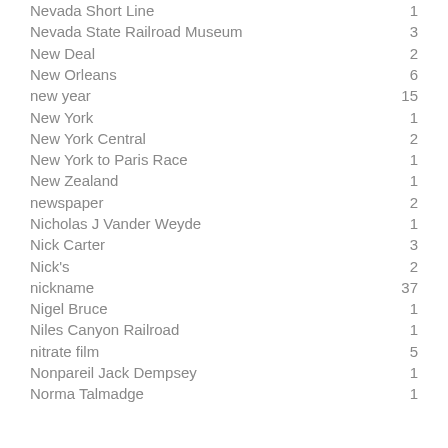| Term | Count |
| --- | --- |
| Nevada Short Line | 1 |
| Nevada State Railroad Museum | 3 |
| New Deal | 2 |
| New Orleans | 6 |
| new year | 15 |
| New York | 1 |
| New York Central | 2 |
| New York to Paris Race | 1 |
| New Zealand | 1 |
| newspaper | 2 |
| Nicholas J Vander Weyde | 1 |
| Nick Carter | 3 |
| Nick's | 2 |
| nickname | 37 |
| Nigel Bruce | 1 |
| Niles Canyon Railroad | 1 |
| nitrate film | 5 |
| Nonpareil Jack Dempsey | 1 |
| Norma Talmadge | 1 |